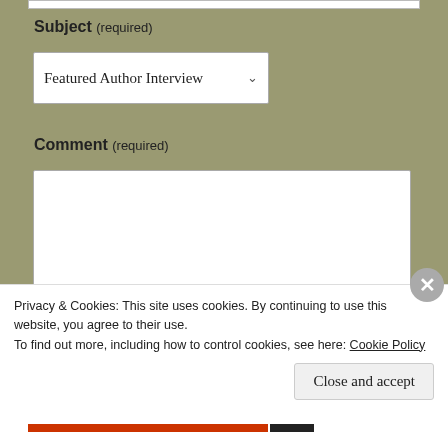Subject (required)
Featured Author Interview
Comment (required)
Privacy & Cookies: This site uses cookies. By continuing to use this website, you agree to their use.
To find out more, including how to control cookies, see here: Cookie Policy
Close and accept